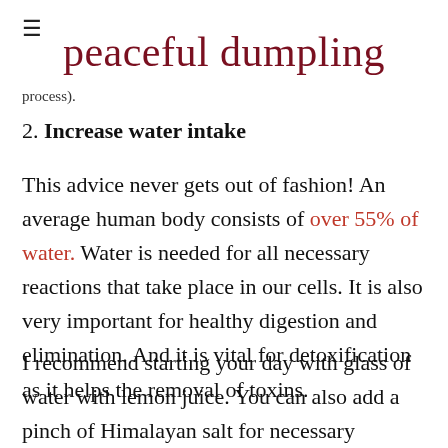≡  peaceful dumpling
process).
2. Increase water intake
This advice never gets out of fashion! An average human body consists of over 55% of water. Water is needed for all necessary reactions that take place in our cells. It is also very important for healthy digestion and elimination. And it is vital for detoxification as it helps the removal of toxins.
I recommend starting your day with glass of water with lemon juice. You can also add a pinch of Himalayan salt for necessary electrolytes (such as